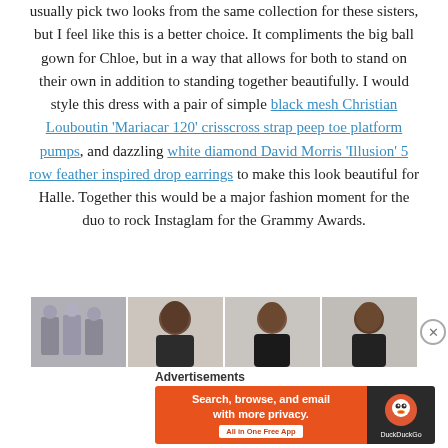usually pick two looks from the same collection for these sisters, but I feel like this is a better choice. It compliments the big ball gown for Chloe, but in a way that allows for both to stand on their own in addition to standing together beautifully. I would style this dress with a pair of simple black mesh Christian Louboutin 'Mariacar 120' crisscross strap peep toe platform pumps, and dazzling white diamond David Morris 'Illusion' 5 row feather inspired drop earrings to make this look beautiful for Halle. Together this would be a major fashion moment for the duo to rock Instaglam for the Grammy Awards.
[Figure (photo): Strip of four fashion model photos showing women in various outfits]
Advertisements
[Figure (screenshot): DuckDuckGo advertisement banner: Search, browse, and email with more privacy. All in One Free App]